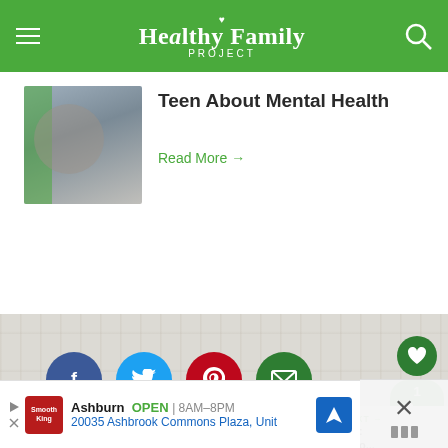Healthy Family PROJECT
Teen About Mental Health
Read More →
[Figure (screenshot): Social sharing icons: Facebook (blue circle), Twitter (light blue circle), Pinterest (red circle), Email (green circle)]
[Figure (screenshot): Heart/like button (dark green circle) and share button with count 1 (green pill shape)]
PODCAST
WHAT'S NEXT → Episode 32: What to Kno...
Ashburn  OPEN | 8AM–8PM  20035 Ashbrook Commons Plaza, Unit